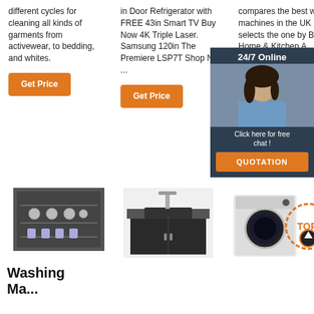different cycles for cleaning all kinds of garments from activewear, to bedding, and whites.
Get Price
in Door Refrigerator with FREE 43in Smart TV Buy Now 4K Triple Laser. Samsung 120in The Premiere LSP7T Shop Now ...
Get Price
compares the best washing machines in the UK and selects the one by Bosch Home & Kitchen A... as the best machine washing buying g... can read about the... of the di...
Get Pri...
[Figure (other): 24/7 Online chat overlay with woman customer service agent, 'Click here for free chat!' and QUOTATION button]
[Figure (photo): Open dishwasher with dishes inside]
[Figure (photo): Kitchen sink unit with cabinet below]
[Figure (photo): Washing machine with TOP badge overlay]
Washing Machine